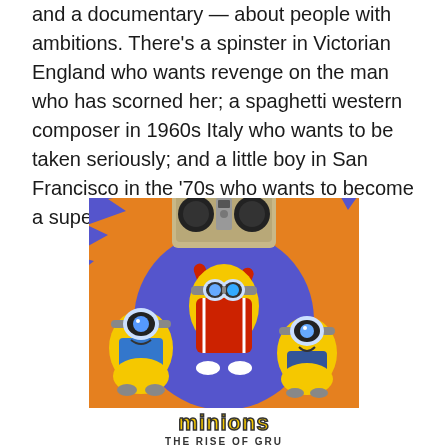and a documentary — about people with ambitions. There's a spinster in Victorian England who wants revenge on the man who has scorned her; a spaghetti western composer in 1960s Italy who wants to be taken seriously; and a little boy in San Francisco in the '70s who wants to become a super villain.
[Figure (illustration): Movie poster for 'Minions: The Rise of Gru' featuring three Minion characters on a colorful psychedelic orange and blue background. The center Minion in a red tracksuit holds up a large boombox. Two other Minions flank it. The movie title 'minions THE RISE OF GRU' appears at the bottom in bold yellow and black text.]